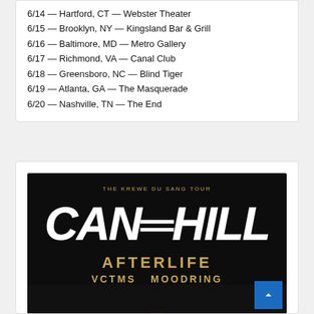6/14 — Hartford, CT — Webster Theater
6/15 — Brooklyn, NY — Kingsland Bar & Grill
6/16 — Baltimore, MD — Metro Gallery
6/17 — Richmond, VA — Canal Club
6/18 — Greensboro, NC — Blind Tiger
6/19 — Atlanta, GA — The Masquerade
6/20 — Nashville, TN — The End
[Figure (illustration): Concert poster for Cane Hill 'The Krewe Du Sang Tour' featuring band name in large white graffiti-style text, with support acts Afterlife, VCTMS, and Moodring listed in gold text, dark background with skull/mask imagery]